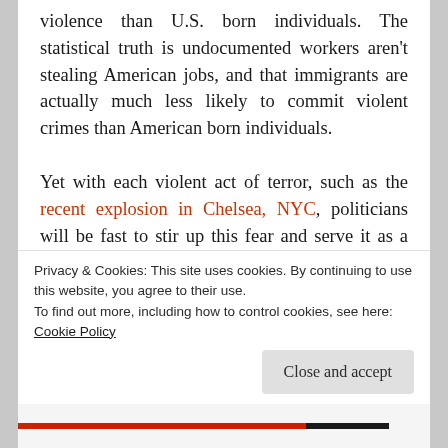violence than U.S. born individuals. The statistical truth is undocumented workers aren't stealing American jobs, and that immigrants are actually much less likely to commit violent crimes than American born individuals.

Yet with each violent act of terror, such as the recent explosion in Chelsea, NYC, politicians will be fast to stir up this fear and serve it as a political soundbite. Imagine, they'll say, what will happen when more refugees are let into the country, implying that these individuals who are escaping from the exact same sort of terror they're trying to prevent will be committing these atrocities a
Privacy & Cookies: This site uses cookies. By continuing to use this website, you agree to their use.
To find out more, including how to control cookies, see here: Cookie Policy